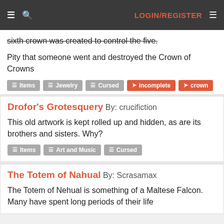LOGIN/REGISTER
sixth crown was created to control the five.
Pity that someone went and destroyed the Crown of Crowns
Tags: Items, Jewelry, Cursed, incomplete, crown
Drofor's Grotesquery By: crucifiction
This old artwork is kept rolled up and hidden, as are its brothers and sisters. Why?
Tags: Items, Art and Music, Cursed
The Totem of Nahual By: Scrasamax
The Totem of Nehual is something of a Maltese Falcon. Many have spent long periods of their life